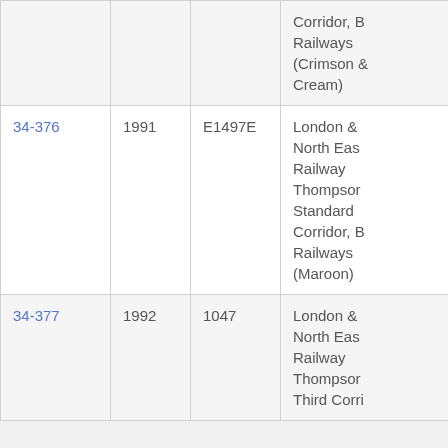| Item | Year | Code | Description |
| --- | --- | --- | --- |
|  |  |  | Corridor, B Railways (Crimson & Cream) |
| 34-376 | 1991 | E1497E | London & North East Railway Thompson Standard Corridor, B Railways (Maroon) |
| 34-377 | 1992 | 1047 | London & North East Railway Thompson Third Corri... |